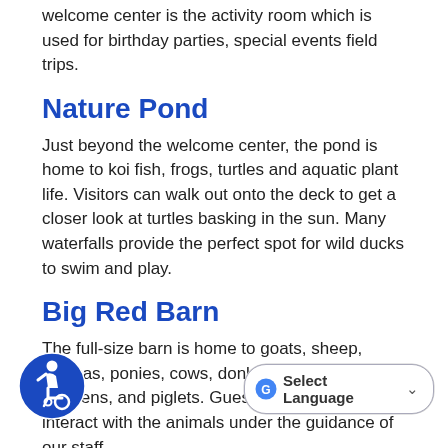welcome center is the activity room which is used for birthday parties, special events field trips.
Nature Pond
Just beyond the welcome center, the pond is home to koi fish, frogs, turtles and aquatic plant life. Visitors can walk out onto the deck to get a closer look at turtles basking in the sun. Many waterfalls provide the perfect spot for wild ducks to swim and play.
Big Red Barn
The full-size barn is home to goats, sheep, alpacas, ponies, cows, donkeys, rabbits, chickens, and piglets. Guests can view and interact with the animals under the guidance of our staff.
Renewable Energy
There is a working wind turbine and solar